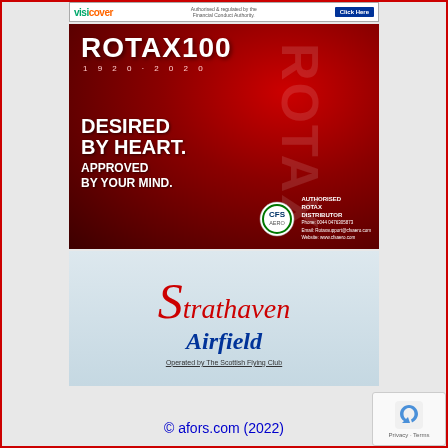[Figure (illustration): VisiCover banner ad with logo, text 'Authorised & regulated by the Financial Conduct Authority.' and blue 'Click Here' button]
[Figure (illustration): Rotax 100 anniversary ad (1920-2020). Dark red background showing Rotax engine. Text: ROTAX100, 1920-2020, DESIRED BY HEART. APPROVED BY YOUR MIND. CFS Aero logo with AUTHORISED ROTAX DISTRIBUTOR and contact details.]
[Figure (logo): Strathaven Airfield advertisement. Red italic script logo text 'Strathaven' with aircraft image, blue bold italic 'Airfield', tagline 'Operated by The Scottish Flying Club']
© afors.com (2022)